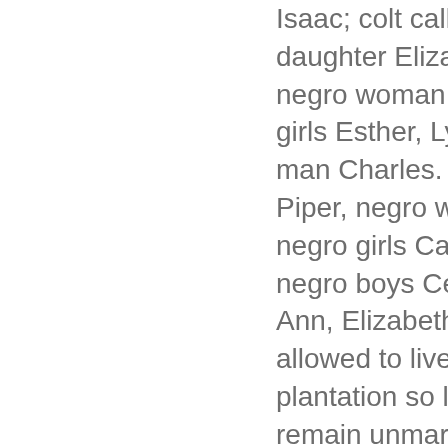Isaac; colt called fanny. To daughter Elizabeth Piper, negro woman Bridget, negro girls Esther, Lydda and negro man Charles. To daughter Ann Piper, negro woman Venus, negro girls Cate and Rhoda, negro boys Cesar, Abraham, Ann, Elizabeth and Sarah to be allowed to live in the dwelling plantation so long as they remain unmarried as long as they "behave themselves orderly to their mother." Witt: Josiah Dashiell, Levin Wright, Elizabeth Parramore. On 2 Nov 1780 Agnes Piper, widowed, elected to take her thirds.2